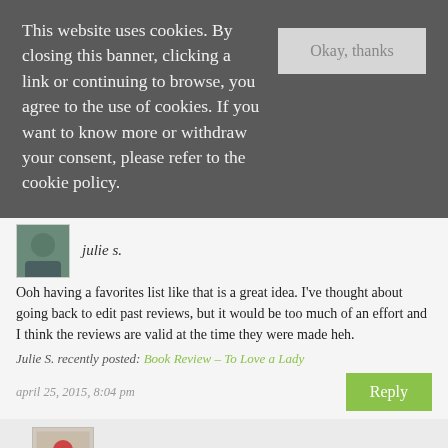This website uses cookies. By closing this banner, clicking a link or continuing to browse, you agree to the use of cookies. If you want to know more or withdraw your consent, please refer to the cookie policy.
Okay, thanks
julie s.
Ooh having a favorites list like that is a great idea. I've thought about going back to edit past reviews, but it would be too much of an effort and I think the reviews are valid at the time they were made heh.
Julie S. recently posted: Book Review – To Love a Lady
april 25, 2015, 8:04 pm
Reply
nicole
Yes, it would have been a pretty huge effort. I think this is a better solution!